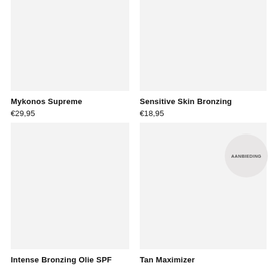[Figure (photo): Product image placeholder for Mykonos Supreme, light gray background]
Mykonos Supreme
€29,95
[Figure (photo): Product image placeholder for Sensitive Skin Bronzing, light gray background]
Sensitive Skin Bronzing
€18,95
[Figure (photo): Product image placeholder for Intense Bronzing Olie SPF, light gray background]
Intense Bronzing Olie SPF
[Figure (photo): Product image placeholder for Tan Maximizer with promotional badge, light gray background]
Tan Maximizer